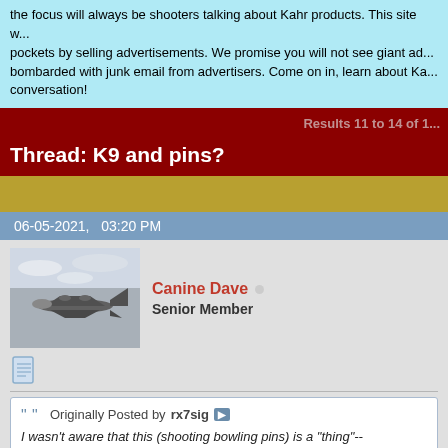the focus will always be shooters talking about Kahr products. This site w... pockets by selling advertisements. We promise you will not see giant ad... bombarded with junk email from advertisers. Come on in, learn about Ka... conversation!
Results 11 to 14 of 1...
Thread: K9 and pins?
06-05-2021,   03:20 PM
[Figure (photo): Grayscale photo of a vintage airplane in flight, used as user avatar]
Canine Dave  Senior Member
Originally Posted by rx7sig
I wasn't aware that this (shooting bowling pins) is a "thing"-- watched several YouTube videos last night. I still don't get it...

rx7sig
I'm still brand new to the sport. But here, this explains it very well...